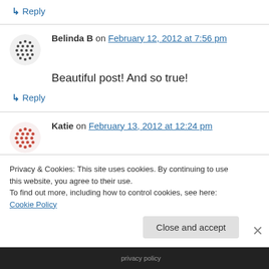↳ Reply
Belinda B on February 12, 2012 at 7:56 pm
Beautiful post! And so true!
↳ Reply
Katie on February 13, 2012 at 12:24 pm
So very, very true! It was a joy reading your post, thank you for sharing!
Privacy & Cookies: This site uses cookies. By continuing to use this website, you agree to their use. To find out more, including how to control cookies, see here: Cookie Policy